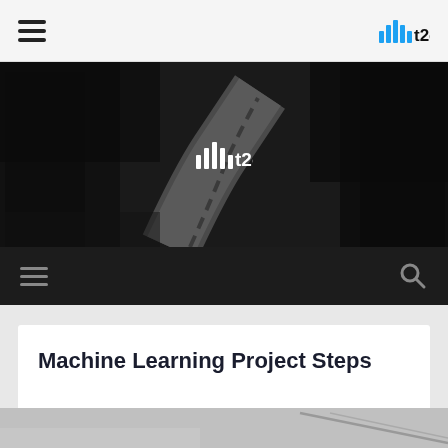≡  |||t2c
[Figure (photo): Hero banner with dark forest road winding into the distance, black and white photo with t2c logo overlaid in white text in the center]
≡  🔍
Machine Learning Project Steps